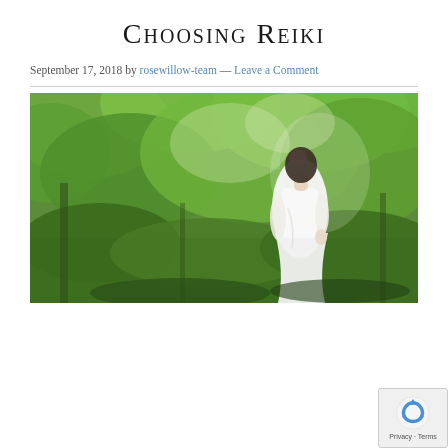Choosing Reiki
September 17, 2018 by rosewillow-team — Leave a Comment
[Figure (photo): A woman in a white dress standing in a lush green forest, photographed from behind/side, soft natural light filtering through the trees.]